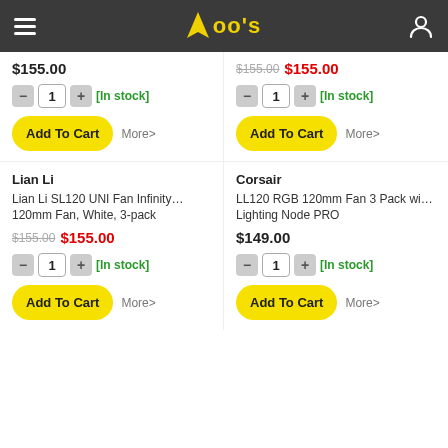OO'S
$155.00
$155.00 $155.00
1 [In stock]
1 [In stock]
Add To Cart More>
Add To Cart More>
Lian Li
Corsair
Lian Li SL120 UNI Fan Infinity… 120mm Fan, White, 3-pack
LL120 RGB 120mm Fan 3 Pack wi… Lighting Node PRO
$155.00 $155.00
$149.00
1 [In stock]
1 [In stock]
Add To Cart More>
Add To Cart More>